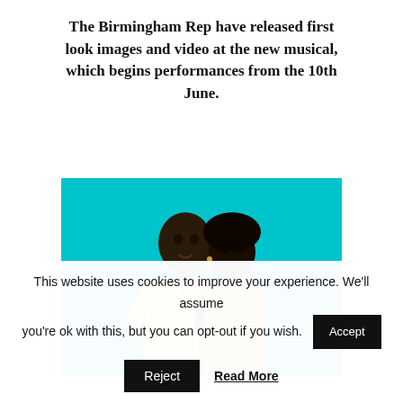The Birmingham Rep have released first look images and video at the new musical, which begins performances from the 10th June.
[Figure (photo): Two people (a man and a woman) posing against a bright teal/cyan background. The man is in a light yellow short-sleeved shirt and the woman in a yellow floral outfit leans on his shoulder. Both are looking upward.]
This website uses cookies to improve your experience. We'll assume you're ok with this, but you can opt-out if you wish. Accept Reject Read More